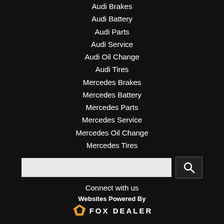Audi Brakes
Audi Battery
Audi Parts
Audi Service
Audi Oil Change
Audi Tires
Mercedes Brakes
Mercedes Battery
Mercedes Parts
Mercedes Service
Mercedes Oil Change
Mercedes Tires
Connect with us
Websites Powered By FOX DEALER
Your web browser (iOS 11) is out of date. Update your browser for more security, speed
TEXT SALES TEAM
(626) 542-1240